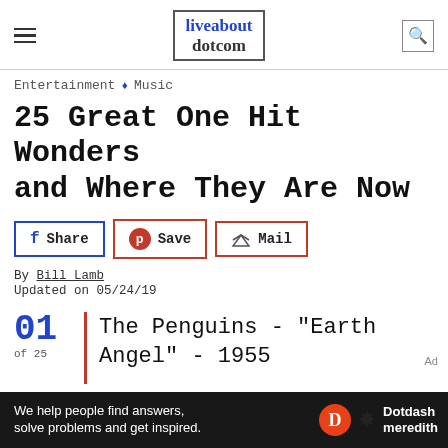liveabout dotcom
Entertainment ◆ Music
25 Great One Hit Wonders and Where They Are Now
Share | Save | Mail
By Bill Lamb
Updated on 05/24/19
01 of 25 | The Penguins - "Earth Angel" - 1955
[Figure (other): Dotdash Meredith advertisement bar: 'We help people find answers, solve problems and get inspired.']